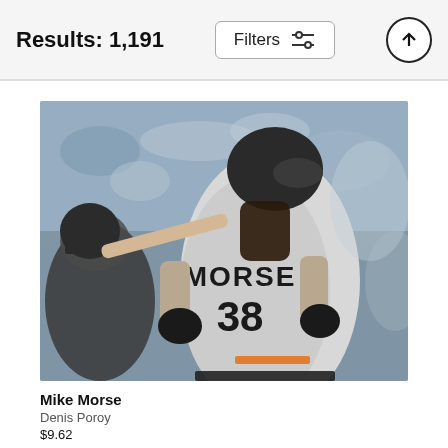Results: 1,191
Filters
[Figure (photo): Baseball player Mike Morse wearing San Francisco Giants jersey number 38, swinging a bat, with a catcher visible on the left and a blurred crowd in the background.]
Mike Morse
Denis Poroy
$9.62